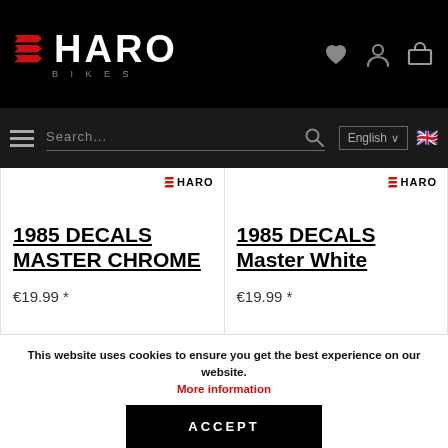HARO BIKES
Search...
English
1985 DECALS MASTER CHROME €19.99 *
1985 DECALS Master White €19.99 *
This website uses cookies to ensure you get the best experience on our website. More information
ACCEPT